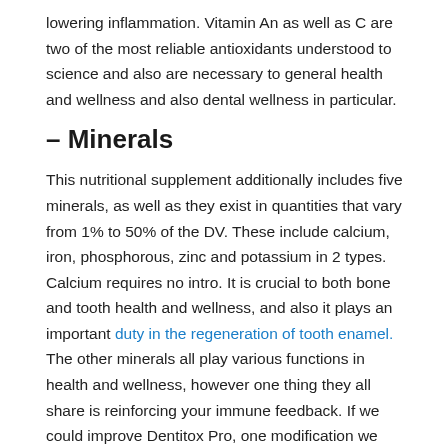lowering inflammation. Vitamin An as well as C are two of the most reliable antioxidants understood to science and also are necessary to general health and wellness and also dental wellness in particular.
– Minerals
This nutritional supplement additionally includes five minerals, as well as they exist in quantities that vary from 1% to 50% of the DV. These include calcium, iron, phosphorous, zinc and potassium in 2 types. Calcium requires no intro. It is crucial to both bone and tooth health and wellness, and also it plays an important duty in the regeneration of tooth enamel. The other minerals all play various functions in health and wellness, however one thing they all share is reinforcing your immune feedback. If we could improve Dentitox Pro, one modification we would certainly make would be to increase the calcium web content to 100% of the DV rather than simply 5%.